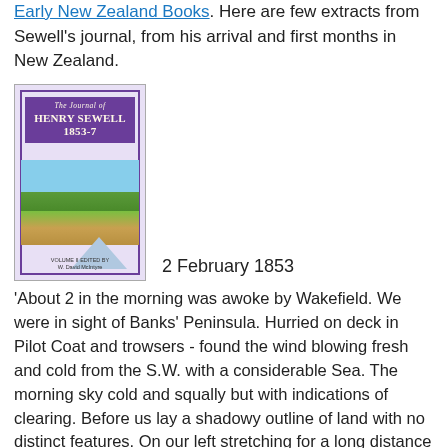full text of the journal can be read online at Early New Zealand Books. Here are few extracts from Sewell's journal, from his arrival and first months in New Zealand.
[Figure (photo): Book cover of 'The Journal of Henry Sewell 1853-7', Volume II edited by W. David McIntyre, showing a landscape scene with mountains and fields on the cover under a purple/violet title banner.]
2 February 1853
'About 2 in the morning was awoke by Wakefield. We were in sight of Banks' Peninsula. Hurried on deck in Pilot Coat and trowsers - found the wind blowing fresh and cold from the S.W. with a considerable Sea. The morning sky cold and squally but with indications of clearing. Before us lay a shadowy outline of land with no distinct features. On our left stretching for a long distance a still more indistinct haze of mountain outlines topped with snow looking bleak and desolate. Presently one after the other passengers tumbled